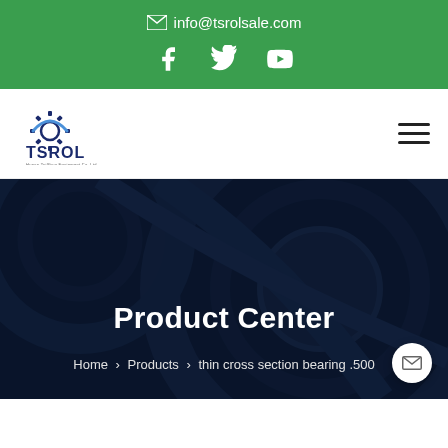info@tsrolsale.com
[Figure (logo): TSROL company logo with gear icon and text 'Hunan TaiShuo Equipment Co. Ltd']
Product Center
Home > Products > thin cross section bearing .500